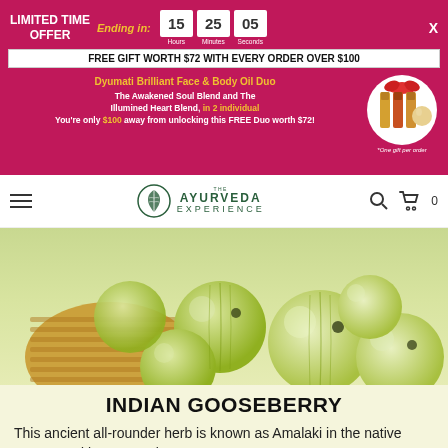LIMITED TIME OFFER | Ending in: 15 Hours 25 Minutes 05 Seconds
FREE GIFT WORTH $72 WITH EVERY ORDER OVER $100
Dyumati Brilliant Face & Body Oil Duo
The Awakened Soul Blend and The Illumined Heart Blend, in 2 individual
You're only $100 away from unlocking this FREE Duo worth $72!
[Figure (photo): Gift box with bottles of face and body oils tied with red ribbon]
*One gift per order
[Figure (logo): The Ayurveda Experience logo with leaf emblem]
[Figure (photo): Indian gooseberry (amla) fruits spilling from a wicker basket on a white background]
INDIAN GOOSEBERRY
This ancient all-rounder herb is known as Amalaki in the native tongue and is commonly